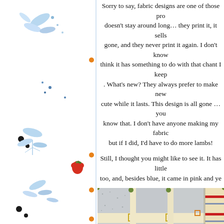[Figure (illustration): Decorative left border with blue floral/leaf motifs, small dots in orange, black, and red, on white background]
Sorry to say, fabric designs are one of those products that doesn't stay around long… they print it, it sells out, it's gone, and they never print it again. I don't know, but I think it has something to do with that chant I keep hearing. What's new? They always prefer to make new designs… cute while it lasts. This design is all gone … you already know that. I don't have anyone making my fabric for me, but if I did, I'd have to do more lambs!
Still, I thought you might like to see it. It has little squares too, and, besides blue, it came in pink and ye
[Figure (photo): Close-up photo of a fabric with a patchwork-style design featuring blue mottled squares and cream/yellow rectangular strips, with small colored squares (red, yellow/green, orange) at intersections. A folded edge shows a striped fabric underneath.]